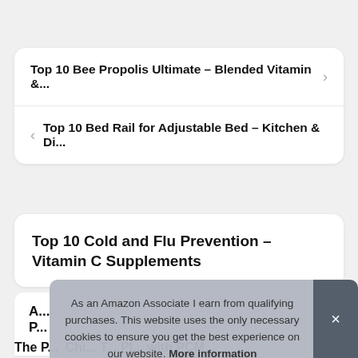Top 10 Bee Propolis Ultimate – Blended Vitamin &...
Top 10 Bed Rail for Adjustable Bed – Kitchen & Di...
Top 10 Cold and Flu Prevention – Vitamin C Supplements
A... P...
The P... Chi... T... Pl... with PCM...
As an Amazon Associate I earn from qualifying purchases. This website uses the only necessary cookies to ensure you get the best experience on our website. More information